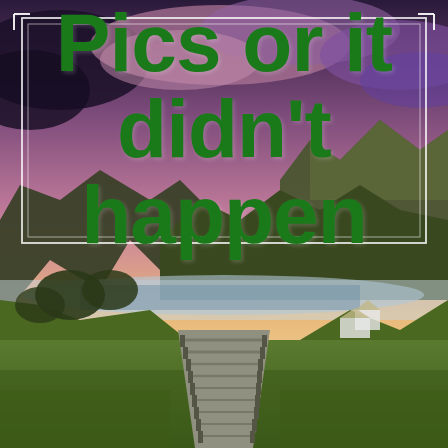[Figure (photo): Scenic landscape photograph showing a mountain valley at sunrise/sunset with dramatic purple and pink clouds, a wooden boardwalk path leading through green meadows toward a lake, mountains in the background, and mist over the water.]
Pics or it didn't happen